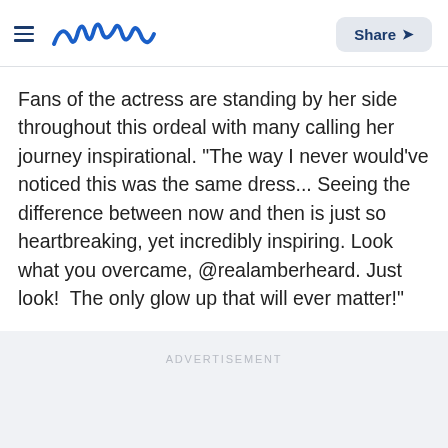meaww — Share
Fans of the actress are standing by her side throughout this ordeal with many calling her journey inspirational. "The way I never would've noticed this was the same dress... Seeing the difference between now and then is just so heartbreaking, yet incredibly inspiring. Look what you overcame, @realamberheard. Just look!  The only glow up that will ever matter!"
ADVERTISEMENT